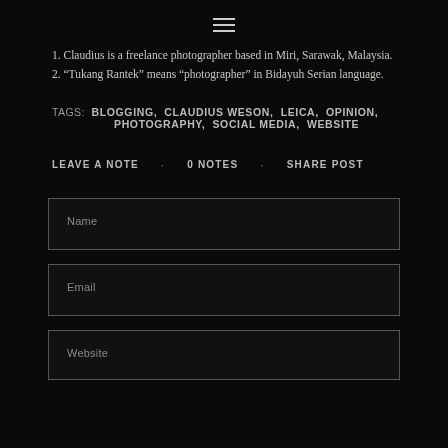≡
1. Claudius is a freelance photographer based in Miri, Sarawak, Malaysia.
2. “Tukang Rantek” means “photographer” in Bidayuh Serian language.
TAGS: BLOGGING, CLAUDIUS WESON, LEICA, OPINION, PHOTOGRAPHY, SOCIAL MEDIA, WEBSITE
LEAVE A NOTE . 0 NOTES . SHARE POST
Name
Email
Website